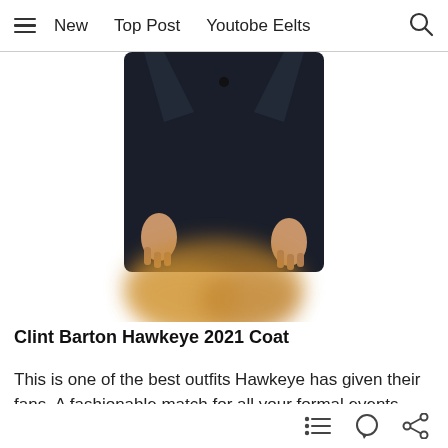≡  New    Top Post    Youtobe Eelts    🔍
[Figure (photo): A person wearing a dark navy wool coat, hands visible at sides, with a blurred golden-brown animal (dog) in the foreground.]
Clint Barton Hawkeye 2021 Coat
This is one of the best outfits Hawkeye has given their fans. A fashionable match for all your formal events. Indeed, a treasure to conquer every occasion in a modishly trendy manner. What makes
≔  ○  ⋙